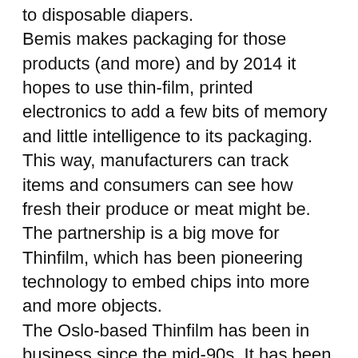to disposable diapers. Bemis makes packaging for those products (and more) and by 2014 it hopes to use thin-film, printed electronics to add a few bits of memory and little intelligence to its packaging. This way, manufacturers can track items and consumers can see how fresh their produce or meat might be. The partnership is a big move for Thinfilm, which has been pioneering technology to embed chips into more and more objects. The Oslo-based Thinfilm has been in business since the mid-90s. It has been manufacturing thin-film memory chips that provide about 20 bits of storage, which were used in toys and games. But it has been adding more memory and has a partnership with Xerox PARC that added transistors to its circuit, thereby giving its chips enough intelligence to track inventory or send environmental data from a sensor back to the network. As I wrote back in October, the idea of smarter circuits